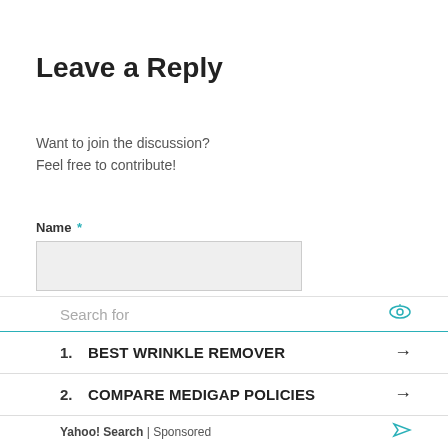Leave a Reply
Want to join the discussion?
Feel free to contribute!
Name *
Email *
[Figure (screenshot): Ad widget: Search for box with eye icon, item 1: BEST WRINKLE REMOVER with arrow, item 2: COMPARE MEDIGAP POLICIES with arrow, Yahoo! Search | Sponsored footer with send icon]